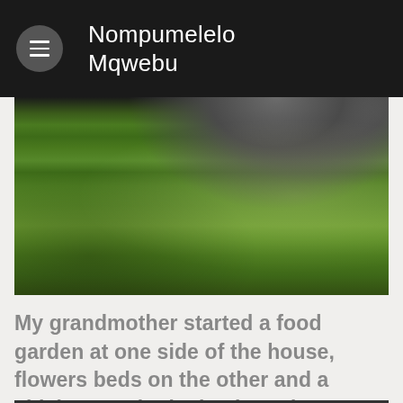Nompumelelo Mqwebu
[Figure (photo): Photograph of a green grass lawn with sunlight and shadows, dark gravel or mulch visible at upper edges.]
My grandmother started a food garden at one side of the house, flowers beds on the other and a chicken run in the back yard.